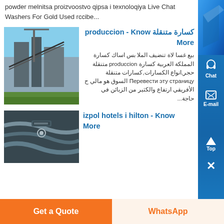powder melnitsa proizvoostvo qipsa i texnoloqiya Live Chat Washers For Gold Used rccibe...
[Figure (photo): Industrial crushing/mining equipment facility exterior photo]
كسارة متنقلة produccion - Know More
بيع غسا لاة تنضيف الملا بس اساك كسارة المملكة العربية كسارة produccion متنقلة حجر,انواع الكسارات,كسارات متنقلة Перевести эту страницу السوق هو مالي ج الأفريقي ارتفاع والكثير من الزبائن في حاجة...
[Figure (photo): Close-up photo of industrial cables or hoses]
izpol hotels i hilton - Know More
Get a Quote
WhatsApp